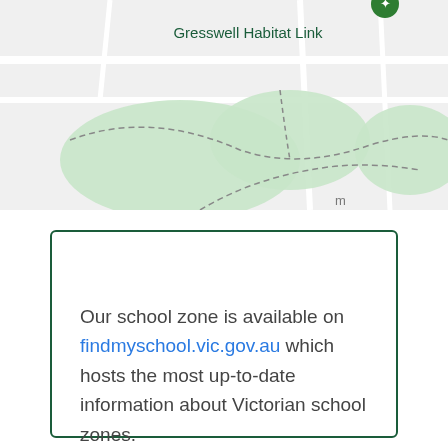[Figure (map): Google Maps-style map showing 'Gresswell Habitat Link' location with a green map pin marker, showing green park/reserve areas with dashed boundary lines on a light grey street map background]
Our school zone is available on findmyschool.vic.gov.au which hosts the most up-to-date information about Victorian school zones.

Students residing in our school